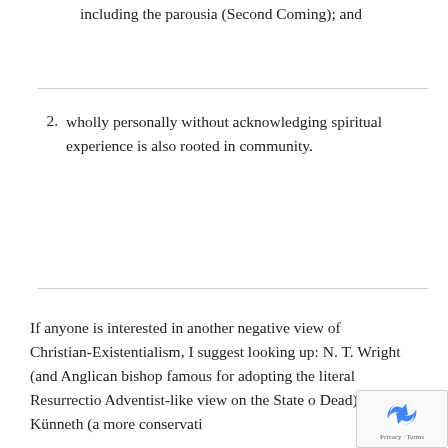including the parousia (Second Coming); and
2. wholly personally without acknowledging spiritual experience is also rooted in community.
If anyone is interested in another negative view of Christian-Existentialism, I suggest looking up: N. T. Wright (and Anglican bishop famous for adopting the literal Resurrection Adventist-like view on the State of Dead), Künneth (a more conservative